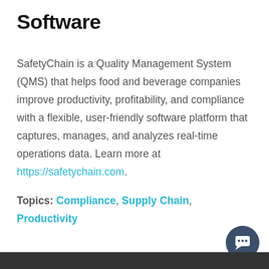Software
SafetyChain is a Quality Management System (QMS) that helps food and beverage companies improve productivity, profitability, and compliance with a flexible, user-friendly software platform that captures, manages, and analyzes real-time operations data. Learn more at https://safetychain.com.
Topics: Compliance, Supply Chain, Productivity
[Figure (illustration): Dark blue circular chat button with speech bubble icon in bottom right corner]